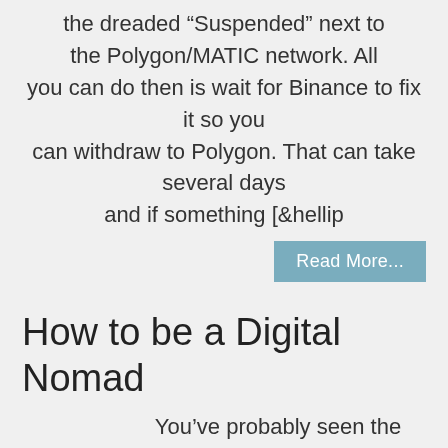the dreaded “Suspended” next to the Polygon/MATIC network. All you can do then is wait for Binance to fix it so you can withdraw to Polygon. That can take several days and if something [&hellip
Read More...
How to be a Digital Nomad
You’ve probably seen the videos on youtube or other platforms showing the adventures being had by seemingly overly lucky people, while travelling the country or world in a van or yacht or motorbike etc., and you’ve dreamed of doing